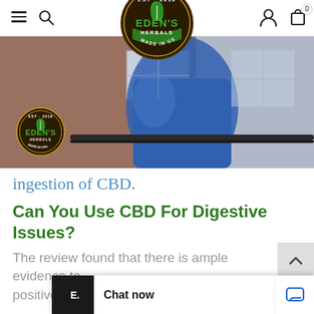Eden's Herbals navigation header with hamburger menu, search, logo, user icon, cart (0)
[Figure (photo): Hero image of a person in a blue jacket outdoors near a brick building and railing, with Eden's Herbals logo watermark in lower left and large Eden's Herbals logo centered at top]
ingestion of CBD.
Can You Use CBD For Digestive Issues?
The review found that there is ample evidence to positive acti